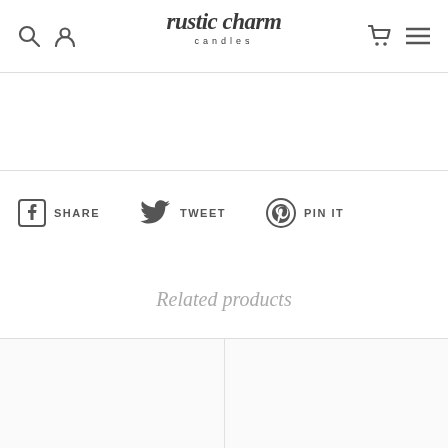rustic charm candles
SHARE   TWEET   PIN IT
Related products
[Figure (photo): Two product image placeholder cells at the bottom of the page]